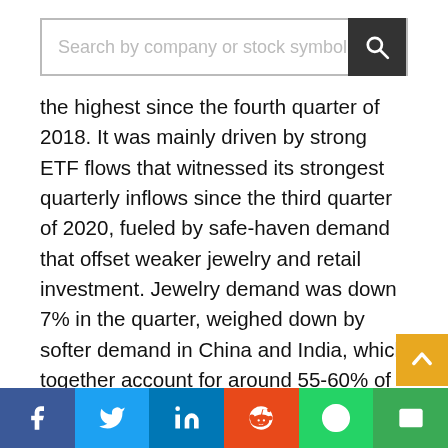Search by company or stock symbol
the highest since the fourth quarter of 2018. It was mainly driven by strong ETF flows that witnessed its strongest quarterly inflows since the third quarter of 2020, fueled by safe-haven demand that offset weaker jewelry and retail investment. Jewelry demand was down 7% in the quarter, weighed down by softer demand in China and India, which together account for around 55-60% of total quarterly jewelry consumption. After a strong start to the year, demand in China came to a virtual halt in March as strict new lockdowns were imposed to contain a resurgence of COVID-19 cases. Meanwhile, in India, the lack of auspicious days, as well as higher gold prices, hampered gold